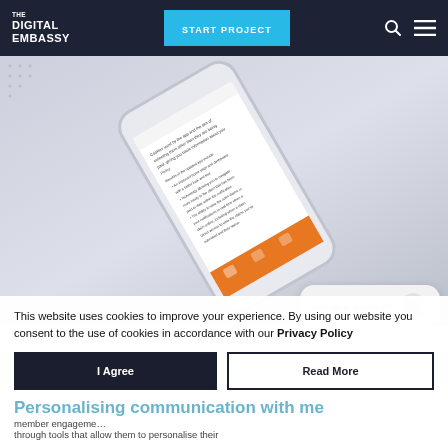THE DIGITAL EMBASSY | START PROJECT
[Figure (screenshot): A smartphone mockup tilted diagonally showing an app interface with text content and an orange navigation bar at the bottom, displayed against a light grey dotted background]
[Figure (other): Ask us a question? chat bubble widget in bottom right]
This website uses cookies to improve your experience. By using our website you consent to the use of cookies in accordance with our Privacy Policy
I Agree
Read More
Personalising communication with me
member engagement
through tools that allow them to personalise their